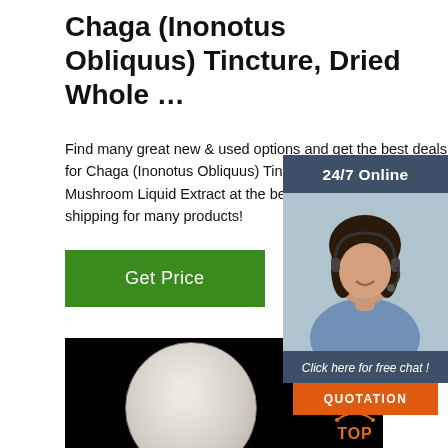Chaga (Inonotus Obliquus) Tincture, Dried Whole …
Find many great new & used options and get the best deals for Chaga (Inonotus Obliquus) Tincture, Dried Whole Mushroom Liquid Extract at the best online price Free shipping for many products!
[Figure (infographic): Green 'Get Price' button]
[Figure (photo): Customer service representative with headset, 24/7 Online chat widget overlay with 'Click here for free chat!' text and orange QUOTATION button]
[Figure (photo): Product photo: white/cream powder in a white plate/petri dish on black background, with orange 'TOP' badge in bottom right corner]